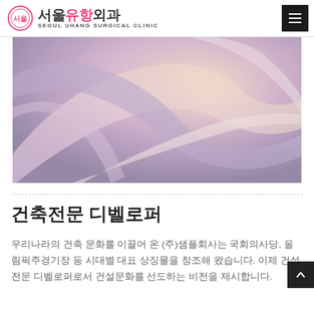서울유항외과 SEOUL UHANG SURGICAL CLINIC
[Figure (illustration): Abstract purple/pink artistic image with curved transparent glass-like shapes and soft light]
건축전문 디벨로퍼
우리나라의 건축 문화를 이끌어 온 (주)샘플회사는 국회의사당, 올림픽주경기장 등 시대별 대표 상징물을 창조해 왔습니다. 이제 건설 전문 디벨로퍼로서 건설문화를 선도하는 비전을 제시합니다.